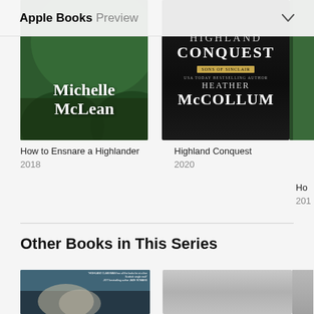Apple Books Preview
[Figure (photo): Book cover for 'How to Ensnare a Highlander' by Michelle McLean, dark green forest background with author name in white serif font]
How to Ensnare a Highlander
2018
[Figure (photo): Book cover for 'Highland Conquest' by Heather McCollum, Sons of Sinclair series, dark/black background with title in white serif font]
Highland Conquest
2020
[Figure (photo): Partially visible third book cover cropped at right edge]
Ho
201
Other Books in This Series
[Figure (photo): Romance novel cover showing a couple embracing, with a quote 'HIGHLAND CLANSMAN has all the looks for at a fine Scottish single malt' - NYT bestselling author JADE ROMANS]
[Figure (photo): Gray placeholder book cover]
[Figure (photo): Partially visible gray book cover cropped at right edge]